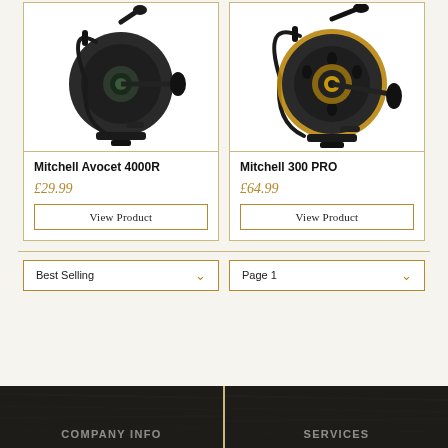[Figure (photo): Mitchell Avocet 4000R fishing spinning reel, black body with green accents, shown on white background]
Mitchell Avocet 4000R
£29.99
View Product
[Figure (photo): Mitchell 300 PRO fishing spinning reel, black body with gold/orange accents, shown on white background]
Mitchell 300 PRO
£64.99
View Product
Best Selling
Page 1
COMPANY INFO
SERVICES